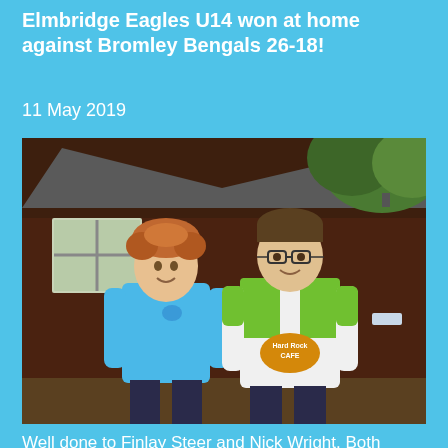Elmbridge Eagles U14 won at home against Bromley Bengals 26-18!
11 May 2019
[Figure (photo): Two young men standing in front of a dark wooden building. The one on the left wears a blue sports shirt with an eagle logo, the one on the right wears a green and white rugby shirt with 'Hard Rock Cafe' sponsor logo.]
Well done to Finlay Steer and Nick Wright. Both starring as…